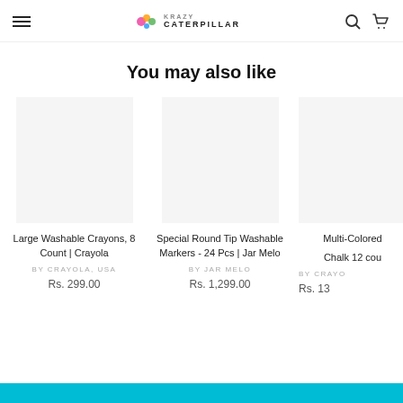Krazy Caterpillar — navigation header with hamburger menu, logo, search and cart icons
You may also like
Large Washable Crayons, 8 Count | Crayola
BY CRAYOLA, USA
Rs. 299.00
Special Round Tip Washable Markers - 24 Pcs | Jar Melo
BY JAR MELO
Rs. 1,299.00
Multi-Colored Chalk 12 count
BY CRAYO...
Rs. 13...